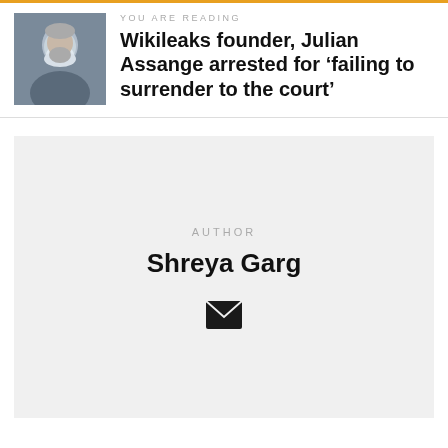YOU ARE READING
Wikileaks founder, Julian Assange arrested for ‘failing to surrender to the court’
[Figure (photo): Photo of Julian Assange, a grey-haired man with beard]
AUTHOR
Shreya Garg